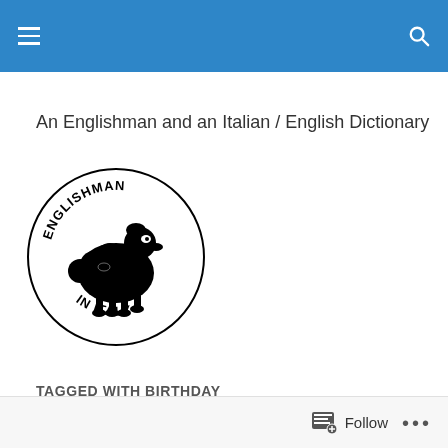An Englishman and an Italian / English Dictionary
[Figure (logo): Circular logo with text 'ENGLISHMAN' arched at top and 'IN ITALY' at bottom, featuring a black cartoon sheep/poodle in the center]
TAGGED WITH BIRTHDAY
Follow ...